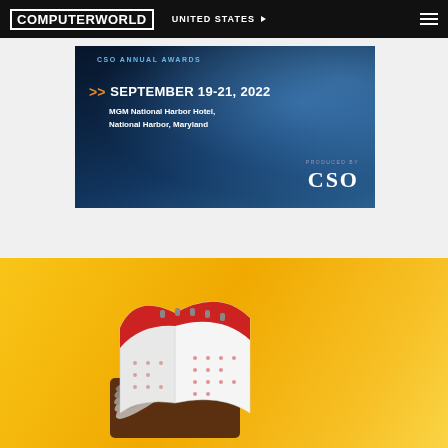COMPUTERWORLD | UNITED STATES
[Figure (photo): CSO conference advertisement banner: dark blue gradient background with light rays, text reading '>> SEPTEMBER 19-21, 2022', 'MGM National Harbor Hotel, National Harbor, Maryland', 'PRODUCED BY CSO']
[Figure (photo): Photograph of a desk calendar with pages fanned out, red and white, on a yellow/golden background]